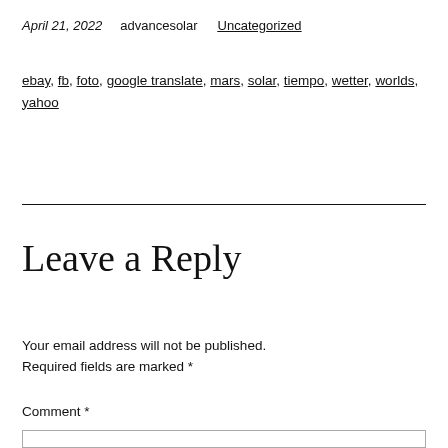April 21, 2022    advancesolar    Uncategorized
ebay, fb, foto, google translate, mars, solar, tiempo, wetter, worlds, yahoo
Leave a Reply
Your email address will not be published. Required fields are marked *
Comment *